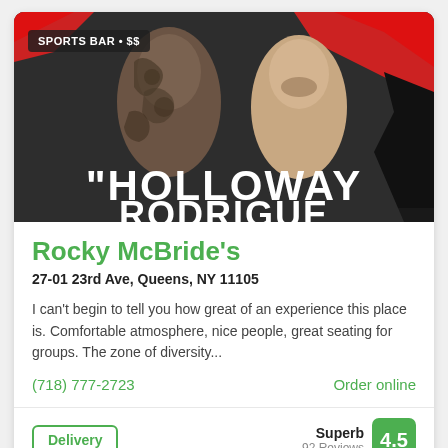[Figure (photo): Promotional image for a UFC fight featuring two fighters (Holloway vs opponent) with red and black graphic elements. A badge reading 'SPORTS BAR • $$' appears in the top-left corner. Large white text 'HOLLOWAY' is visible at the bottom of the image.]
Rocky McBride's
27-01 23rd Ave, Queens, NY 11105
I can't begin to tell you how great of an experience this place is. Comfortable atmosphere, nice people, great seating for groups. The zone of diversity...
(718) 777-2723
Order online
Delivery
Superb
92 Reviews
4.5